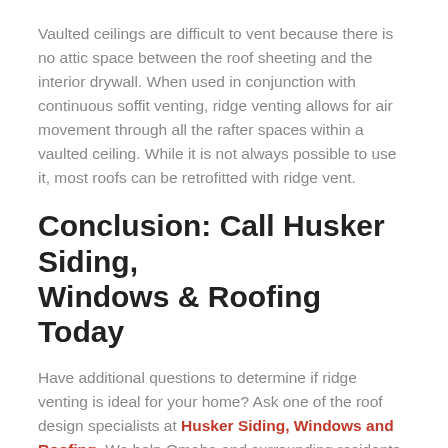Vaulted ceilings are difficult to vent because there is no attic space between the roof sheeting and the interior drywall. When used in conjunction with continuous soffit venting, ridge venting allows for air movement through all the rafter spaces within a vaulted ceiling. While it is not always possible to use it, most roofs can be retrofitted with ridge vent.
Conclusion: Call Husker Siding, Windows & Roofing Today
Have additional questions to determine if ridge venting is ideal for your home? Ask one of the roof design specialists at Husker Siding, Windows and Roofing. We help Omaha and surrounding residents daily determine if ridge venting is right for their roof.